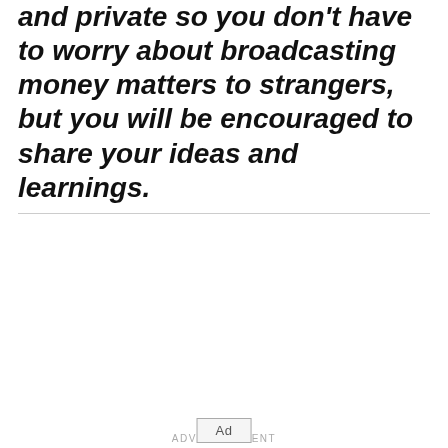and private so you don't have to worry about broadcasting money matters to strangers, but you will be encouraged to share your ideas and learnings.
[Figure (other): Advertisement placeholder box with 'ADVERTISEMENT' label above and 'Ad' button at bottom]